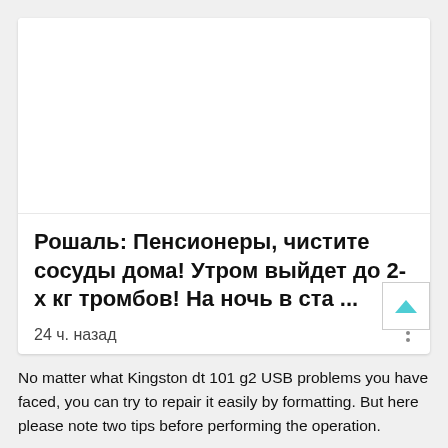[Figure (other): White image area at top of card (blank/placeholder image)]
Рошаль: Пенсионеры, чистите сосуды дома! Утром выйдет до 2-х кг тромбов! На ночь в ста ...
24 ч. назад
No matter what Kingston dt 101 g2 USB problems you have faced, you can try to repair it easily by formatting. But here please note two tips before performing the operation.